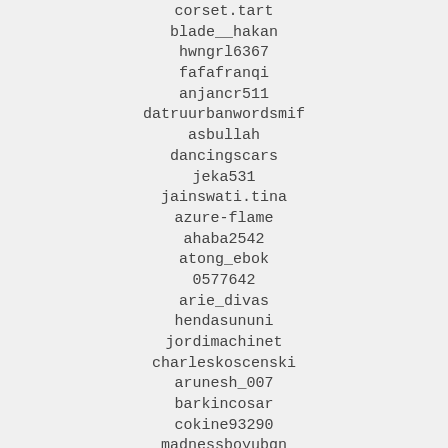corset.tart
blade__hakan
hwngrl6367
fafafranqi
anjancr511
datruurbanwordsmif
asbullah
dancingscars
jeka531
jainswati.tina
azure-flame
ahaba2542
atong_ebok
0577642
arie_divas
hendasununi
jordimachinet
charleskoscenski
arunesh_007
barkincosar
cokine93290
madnessboyubqn
magomedov.cf
madam.kate1990
borivathrauctwnt